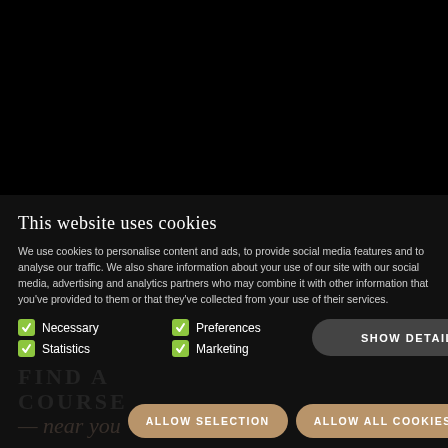This website uses cookies
We use cookies to personalise content and ads, to provide social media features and to analyse our traffic. We also share information about your use of our site with our social media, advertising and analytics partners who may combine it with other information that you've provided to them or that they've collected from your use of their services.
Necessary
Preferences
Statistics
Marketing
SHOW DETAILS
ALLOW SELECTION
ALLOW ALL COOKIES
FIND A COURSE — near you